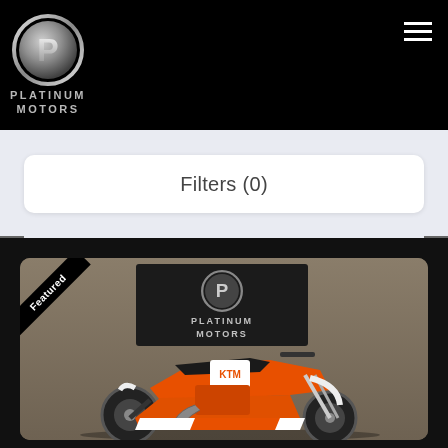[Figure (logo): Platinum Motors logo: chrome circle with stylized P, text PLATINUM MOTORS below in silver on black background]
Filters (0)
[Figure (photo): Featured listing photo of an orange and white KTM dirt bike / motocross motorcycle in front of a Platinum Motors dealership sign. Black 'Featured' diagonal ribbon in upper-left corner.]